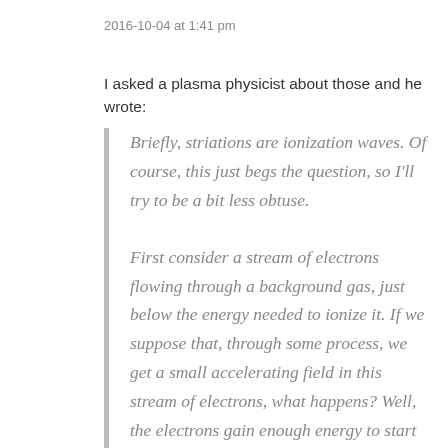2016-10-04 at 1:41 pm
I asked a plasma physicist about those and he wrote:
Briefly, striations are ionization waves. Of course, this just begs the question, so I'll try to be a bit less obtuse.

First consider a stream of electrons flowing through a background gas, just below the energy needed to ionize it. If we suppose that, through some process, we get a small accelerating field in this stream of electrons, what happens? Well, the electrons gain enough energy to start ionizing the gas. This creates ions and electrons which add their further